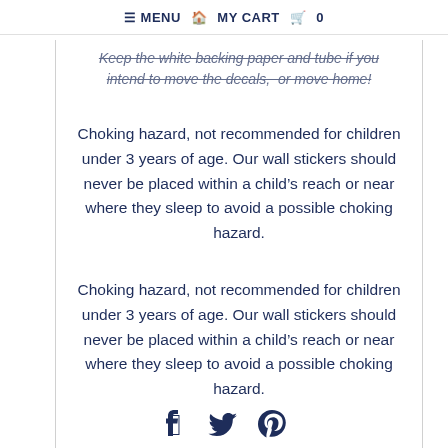≡ MENU  🏠  MY CART  🛒  0
Keep the white backing paper and tube if you intend to move the decals,  or move home!
Choking hazard, not recommended for children under 3 years of age. Our wall stickers should never be placed within a child's reach or near where they sleep to avoid a possible choking hazard.
Choking hazard, not recommended for children under 3 years of age. Our wall stickers should never be placed within a child's reach or near where they sleep to avoid a possible choking hazard.
[Figure (other): Social media icons: Facebook, Twitter, Pinterest]